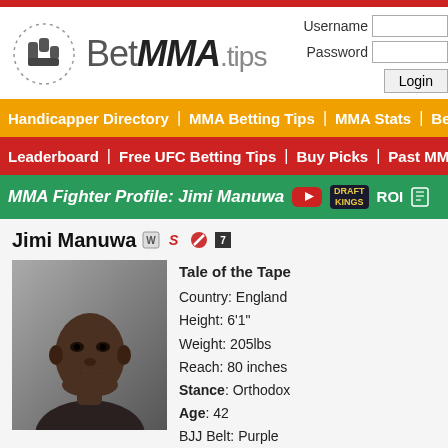[Figure (logo): BetMMA.tips logo with fist icon]
Username [input] Password [input] Login [button]
Handicapper Directory | MMA Betting Tips | MMA Stats | Betting...
Leaderboard | Free UFC Betting Tips | Buy Picks | Past MMA...
MMA Fighter Profile: Jimi Manuwa
Jimi Manuwa
[Figure (photo): Photo of MMA fighter Jimi Manuwa, a Black man in fighting stance, gray background]
Tale of the Tape
Country: England
Height: 6'1"
Weight: 205lbs
Reach: 80 inches
Stance: Orthodox
Age: 42
BJJ Belt: Purple